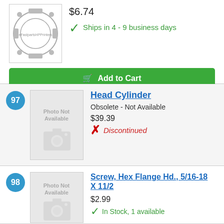$6.74
Ships in 4 - 9 business days
Add to Cart
97
[Figure (photo): Photo Not Available placeholder for Head Cylinder part]
Head Cylinder
Obsolete - Not Available
$39.39
Discontinued
98
[Figure (photo): Photo Not Available placeholder for Screw Hex Flange Hd. part]
Screw, Hex Flange Hd., 5/16-18 X 11/2
$2.99
In Stock, 1 available
Add to Cart